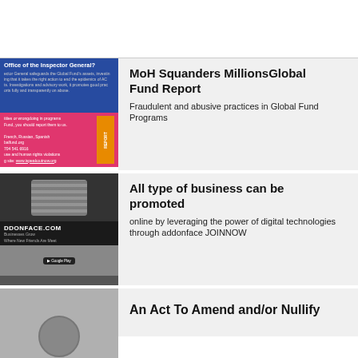[Figure (other): White top section with border, representing a cropped/hidden top area of the page]
[Figure (photo): OIG (Office of the Inspector General) brochure image with blue header, pink section, orange box, and gray text area]
MoH Squanders MillionsGlobal Fund Report
Fraudulent and abusive practices in Global Fund Programs
[Figure (photo): Photo of a hand holding a smartphone with food delivery app, with ADDONFACE.COM branding below]
All type of business can be promoted
online by leveraging the power of digital technologies through addonface JOINNOW
[Figure (photo): Partial image showing what appears to be a mechanical/clock object, cropped at bottom of page]
An Act To Amend and/or Nullify